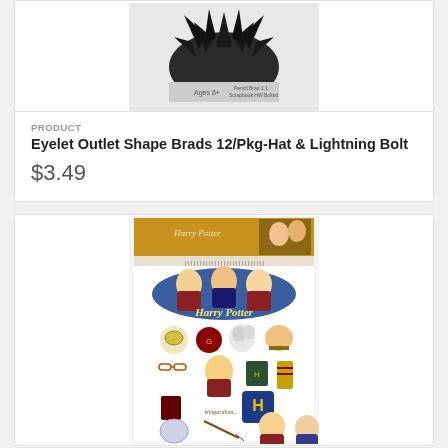[Figure (photo): Product image of Eyelet Outlet Shape Brads hat and lightning bolt shaped brads in black, shown in packaging]
PRODUCT
Eyelet Outlet Shape Brads 12/Pkg-Hat & Lightning Bolt
$3.49
[Figure (photo): Harry Potter themed sticker sheet product image showing chibi-style characters including Hermione, Ron, Harry Potter and various HP themed icons]
PRODUCT